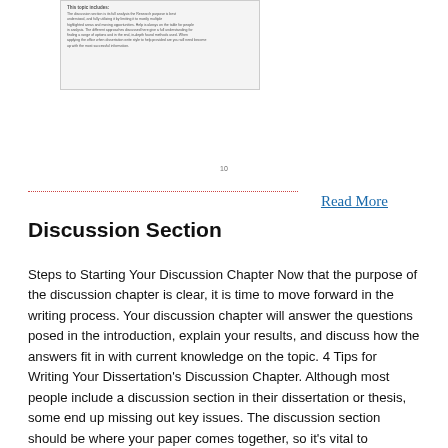[Figure (screenshot): Thumbnail of a document page showing a title and body text paragraph in small font]
10
Read More
Discussion Section
Steps to Starting Your Discussion Chapter Now that the purpose of the discussion chapter is clear, it is time to move forward in the writing process. Your discussion chapter will answer the questions posed in the introduction, explain your results, and discuss how the answers fit in with current knowledge on the topic. 4 Tips for Writing Your Dissertation’s Discussion Chapter. Although most people include a discussion section in their dissertation or thesis, some end up missing out key issues. The discussion section should be where your paper comes together, so it’s vital to consider the following. 1. Have a Clear Structure. 2/03/ · Whether you are writing a PhD, Master’s or Undergraduate level dissertation, the discussion chapter (or section in a shorter dissertation) is going to be one of the most